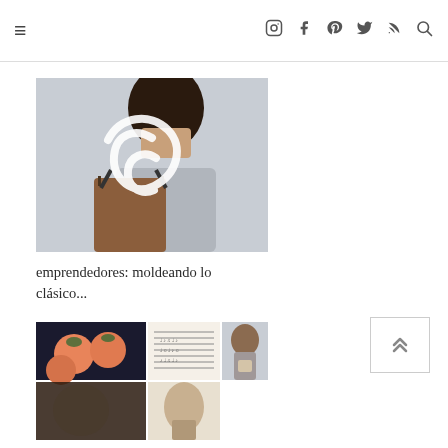≡ [navigation icons: instagram, facebook, pinterest, twitter, rss, search]
[Figure (photo): Woman with curly dark hair facing away, carrying a large brown leather tote bag over her shoulder. A white swirly logo/watermark is overlaid on the image.]
emprendedores: moldeando lo clásico...
[Figure (photo): Grid of thumbnail images: food with garnish on dark plate, sheet music tea towel, woman holding a mug, and two more partially visible thumbnails below.]